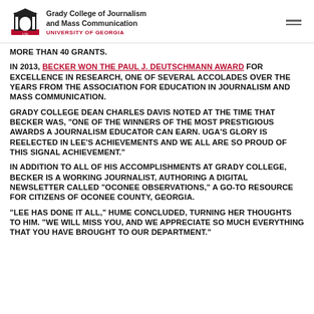Grady College of Journalism and Mass Communication — UNIVERSITY OF GEORGIA
MORE THAN 40 GRANTS.
IN 2013, BECKER WON THE PAUL J. DEUTSCHMANN AWARD FOR EXCELLENCE IN RESEARCH, ONE OF SEVERAL ACCOLADES OVER THE YEARS FROM THE ASSOCIATION FOR EDUCATION IN JOURNALISM AND MASS COMMUNICATION.
GRADY COLLEGE DEAN CHARLES DAVIS NOTED AT THE TIME THAT BECKER WAS "ONE OF THE WINNERS OF THE MOST PRESTIGIOUS AWARDS A JOURNALISM EDUCATOR CAN EARN. UGA'S GLORY IS REELECTED IN LEE'S ACHIEVEMENTS AND WE ALL ARE SO PROUD OF THIS SIGNAL ACHIEVEMENT."
IN ADDITION TO ALL OF HIS ACCOMPLISHMENTS AT GRADY COLLEGE, BECKER IS A WORKING JOURNALIST, AUTHORING A DIGITAL NEWSLETTER CALLED "OCONEE OBSERVATIONS," A GO-TO RESOURCE FOR CITIZENS OF OCONEE COUNTY, GEORGIA.
"LEE HAS DONE IT ALL," HUME CONCLUDED, TURNING HER THOUGHTS TO HIM. "WE WILL MISS YOU, AND WE APPRECIATE SO MUCH EVERYTHING THAT YOU HAVE BROUGHT TO OUR DEPARTMENT."